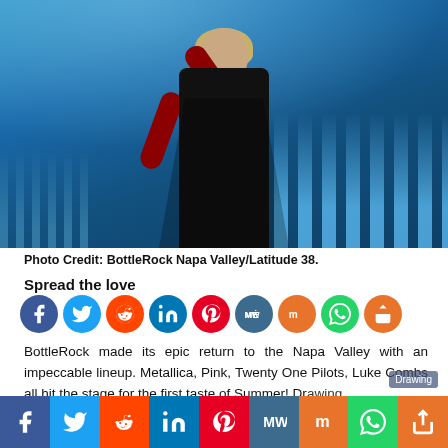[Figure (photo): Concert performer in black outfit with red gloves raising one arm on stage, against blue-lit background with fog and stage lights]
Photo Credit: BottleRock Napa Valley/Latitude 38.
Spread the love
[Figure (infographic): Row of social media share icons: Facebook, Twitter, Reddit, LinkedIn, Pinterest, MeWe, Mix, WhatsApp, Share]
BottleRock made its epic return to the Napa Valley with an impeccable lineup. Metallica, Pink, Twenty One Pilots, Luke Combs all hit the stage for the first taste of Summer! Drawing
[Figure (infographic): Bottom social sharing bar with icons: Facebook, Twitter, Reddit, LinkedIn, Pinterest, MeWe, Mix, WhatsApp, Share]